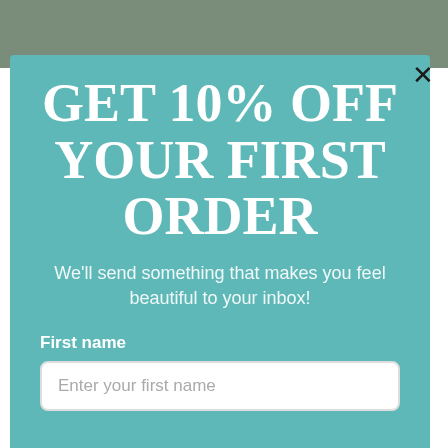GET 10% OFF YOUR FIRST ORDER
We'll send something that makes you feel beautiful to your inbox!
First name
Enter your first name